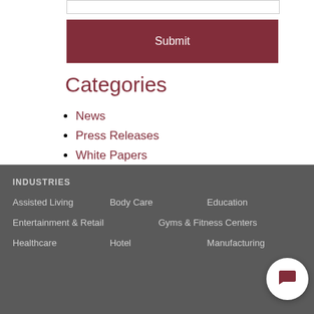[input bar]
Submit
Categories
News
Press Releases
White Papers
INDUSTRIES
Assisted Living   Body Care   Education
Entertainment & Retail   Gyms & Fitness Centers
Healthcare   Hotel   Manufacturing